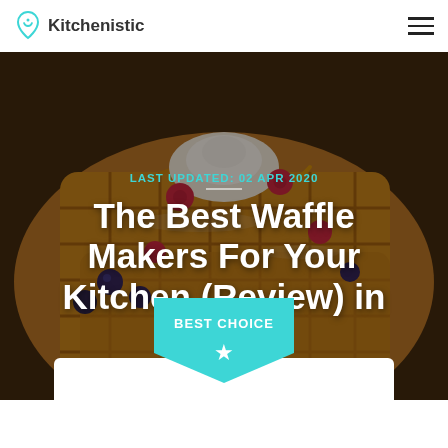Kitchenistic
[Figure (photo): Hero background photo of golden waffles topped with raspberries, blueberries, whipped cream, and caramel sauce on a plate]
LAST UPDATED: 02 Apr 2020
The Best Waffle Makers For Your Kitchen (Review) in 2020
[Figure (infographic): Teal shield/badge shape with text 'BEST CHOICE' and a white star icon]